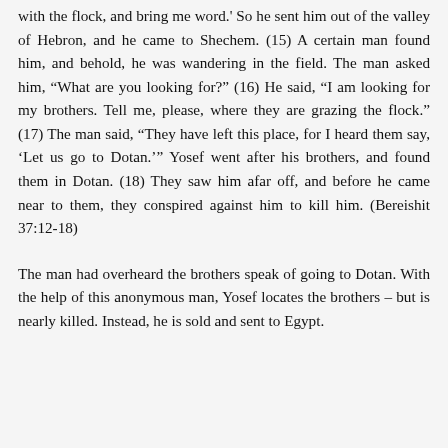with the flock, and bring me word.' So he sent him out of the valley of Hebron, and he came to Shechem. (15) A certain man found him, and behold, he was wandering in the field. The man asked him, “What are you looking for?” (16) He said, “I am looking for my brothers. Tell me, please, where they are grazing the flock.” (17) The man said, “They have left this place, for I heard them say, ‘Let us go to Dotan.’” Yosef went after his brothers, and found them in Dotan. (18) They saw him afar off, and before he came near to them, they conspired against him to kill him. (Bereishit 37:12-18)
The man had overheard the brothers speak of going to Dotan. With the help of this anonymous man, Yosef locates the brothers – but is nearly killed. Instead, he is sold and sent to Egypt.